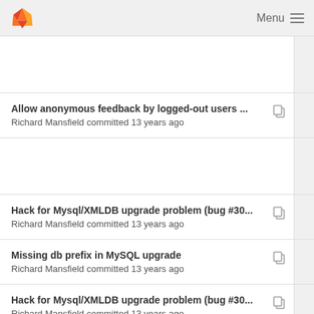Menu
Allow anonymous feedback by logged-out users ...
Richard Mansfield committed 13 years ago
Hack for Mysql/XMLDB upgrade problem (bug #30...
Richard Mansfield committed 13 years ago
Missing db prefix in MySQL upgrade
Richard Mansfield committed 13 years ago
Hack for Mysql/XMLDB upgrade problem (bug #30...
Richard Mansfield committed 13 years ago